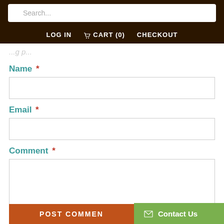Search... | LOG IN | CART (0) | CHECKOUT
...gp...
Name *
Email *
Comment *
POST COMMEN...
Contact Us